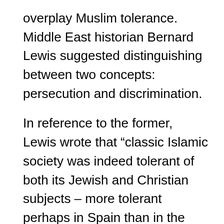overplay Muslim tolerance. Middle East historian Bernard Lewis suggested distinguishing between two concepts: persecution and discrimination.
In reference to the former, Lewis wrote that “classic Islamic society was indeed tolerant of both its Jewish and Christian subjects – more tolerant perhaps in Spain than in the East, and in either incomparably more tolerant than was medieval Christendom.”
Yet when it came to discrimination, “Islam never was or claimed to be tolerant, but on the contrary, insisted on the privileged